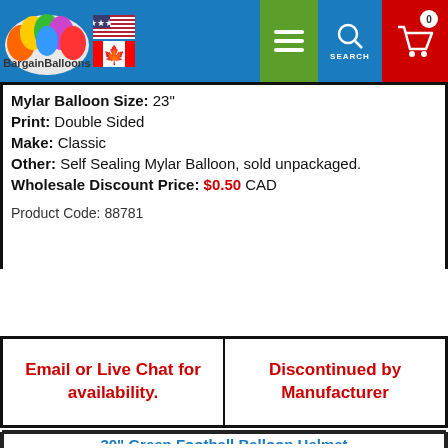BargainBalloons website header with logo, US and Canadian flags, menu, search, and cart
Mylar Balloon Size: 23"
Print: Double Sided
Make: Classic
Other: Self Sealing Mylar Balloon, sold unpackaged.
Wholesale Discount Price: $0.50 CAD
Product Code: 88781
Email or Live Chat for availability.
Discontinued by Manufacturer
30" Green Football Balloon Helmet
[Figure (photo): Green football helmet balloon product photo with Priced at 50% Off Today badge and live chat icon]